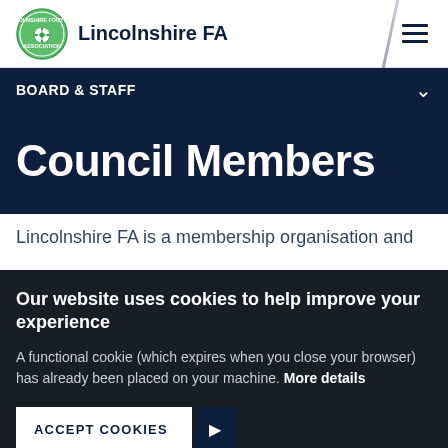Lincolnshire FA
BOARD & STAFF
Council Members
Lincolnshire FA is a membership organisation and
Our website uses cookies to help improve your experience

A functional cookie (which expires when you close your browser) has already been placed on your machine. More details
ACCEPT COOKIES